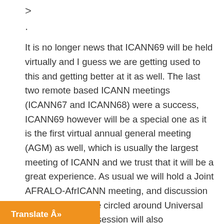>
.
It is no longer news that ICANN69 will be held virtually and I guess we are getting used to this and getting better at it as well. The last two remote based ICANN meetings (ICANN67 and ICANN68) were a success, ICANN69 however will be a special one as it is the first virtual annual general meeting (AGM) as well, which is usually the largest meeting of ICANN and we trust that it will be a great experience. As usual we will hold a Joint AFRALO-AfrICANN meeting, and discussion on the topic will be circled around Universal Acceptance. The session will also [provide the] opportunity to [the] CSE team, ALAC leadership
Translate Â»